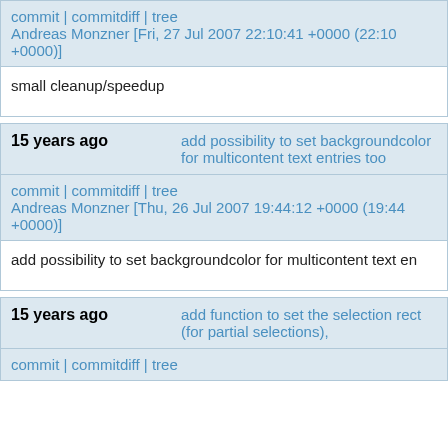commit | commitdiff | tree
Andreas Monzner [Fri, 27 Jul 2007 22:10:41 +0000 (22:10 +0000)]
small cleanup/speedup
15 years ago   add possibility to set backgroundcolor for multicontent text entries too
commit | commitdiff | tree
Andreas Monzner [Thu, 26 Jul 2007 19:44:12 +0000 (19:44 +0000)]
add possibility to set backgroundcolor for multicontent text en
15 years ago   add function to set the selection rect (for partial selections),
commit | commitdiff | tree